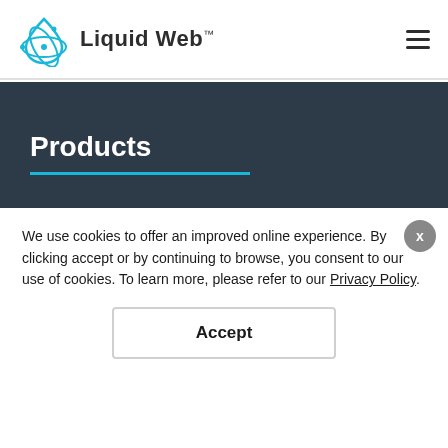[Figure (logo): Liquid Web logo with water drop icon and text 'Liquid Web™']
Liquid Web™
Products
Dedicated Servers
VPS Hosting
Cloud Dedicated
Private VPS Parent
Server Clusters
Managed WordPress
Managed WooCommerce
We use cookies to offer an improved online experience. By clicking accept or by continuing to browse, you consent to our use of cookies. To learn more, please refer to our Privacy Policy.
Accept
CHAT WITH A HUMAN